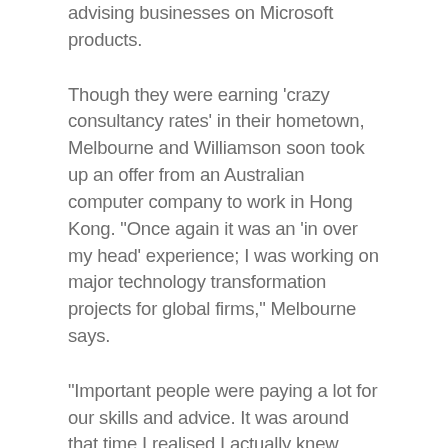advising businesses on Microsoft products.
Though they were earning 'crazy consultancy rates' in their hometown, Melbourne and Williamson soon took up an offer from an Australian computer company to work in Hong Kong. “Once again it was an ‘in over my head’ experience; I was working on major technology transformation projects for global firms,” Melbourne says.
“Important people were paying a lot for our skills and advice. It was around that time I realised I actually knew what I was doing, that I had developed a deep understanding of both technology and people. Even back then, before the internet had taken off, it was obvious those skills were going to be in high demand. Plus, Phil and I were passionate about helping organisations use technology to eliminate low-value